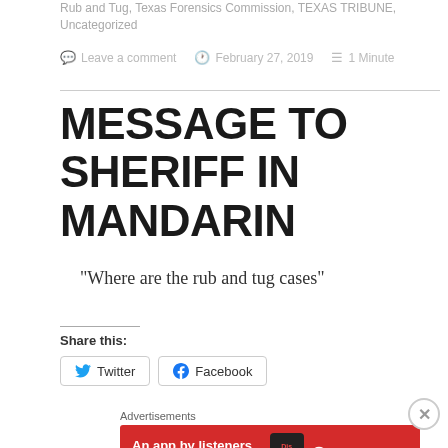Rub and Tug, Texas Forensics Commission, TEXAS TRIBUNE, Uncategorized
Leave a comment  February 27, 2019  1 Minute
MESSAGE TO SHERIFF IN MANDARIN
"Where are the rub and tug cases"
Share this:
Twitter  Facebook
Advertisements
[Figure (other): Pocket Casts advertisement banner: red background with text 'An app by listeners, for listeners.' and app screenshot with 'Dis tri buted' text, Pocket Casts logo and name on the right]